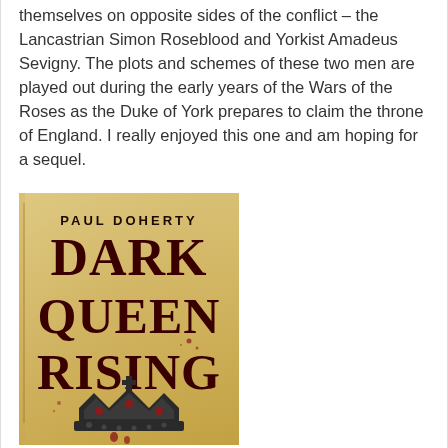themselves on opposite sides of the conflict – the Lancastrian Simon Roseblood and Yorkist Amadeus Sevigny. The plots and schemes of these two men are played out during the early years of the Wars of the Roses as the Duke of York prepares to claim the throne of England. I really enjoyed this one and am hoping for a sequel.
[Figure (illustration): Book cover of 'Dark Queen Rising' by Paul Doherty. Parchment-colored background with dark red and black medieval-style lettering. Features an ornate crown illustration at the bottom with blood-red spots. Author name at top reads PAUL DOHERTY, large title text DARK QUEEN RISING below.]